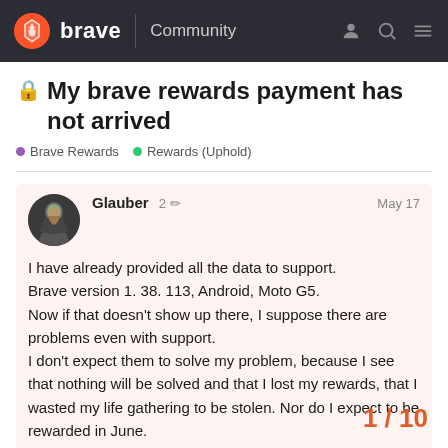brave Community
🔒 My brave rewards payment has not arrived
Brave Rewards   Rewards (Uphold)
Glauber   2 ✏   May 17
I have already provided all the data to support. Brave version 1. 38. 113, Android, Moto G5.
Now if that doesn't show up there, I suppose there are problems even with support.
I don't expect them to solve my problem, because I see that nothing will be solved and that I lost my rewards, that I wasted my life gathering to be stolen. Nor do I expect to be rewarded in June.
I predict the same will happen.
1 / 10